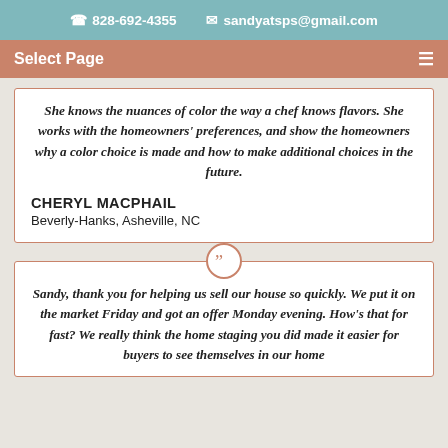828-692-4355  sandyatsps@gmail.com
Select Page
She knows the nuances of color the way a chef knows flavors. She works with the homeowners' preferences, and show the homeowners why a color choice is made and how to make additional choices in the future.
CHERYL MACPHAIL
Beverly-Hanks, Asheville, NC
Sandy, thank you for helping us sell our house so quickly. We put it on the market Friday and got an offer Monday evening. How's that for fast? We really think the home staging you did made it easier for buyers to see themselves in our home